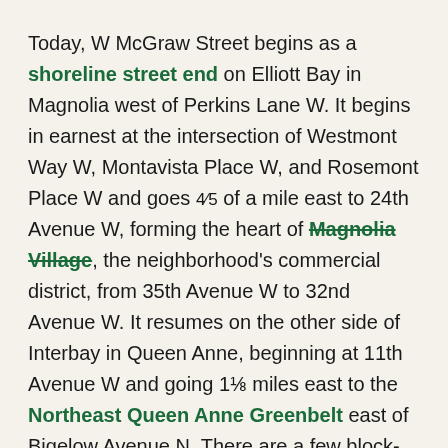Today, W McGraw Street begins as a shoreline street end on Elliott Bay in Magnolia west of Perkins Lane W. It begins in earnest at the intersection of Westmont Way W, Montavista Place W, and Rosemont Place W and goes 4⁄5 of a mile east to 24th Avenue W, forming the heart of Magnolia Village, the neighborhood's commercial district, from 35th Avenue W to 32nd Avenue W. It resumes on the other side of Interbay in Queen Anne, beginning at 11th Avenue W and going 1⅛ miles east to the Northeast Queen Anne Greenbelt east of Bigelow Avenue N. There are a few block-long segments heading down the hill to Westlake and, like Blaine Street, a right-of-way platted into Lake Union that serves as a driveway and affords no actual lake